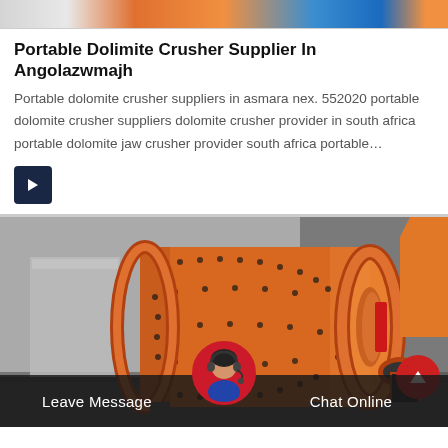[Figure (photo): Top portion of industrial machinery/crusher equipment visible at top of page, partially cropped]
Portable Dolimite Crusher Supplier In Angolazwmajh
Portable dolomite crusher suppliers in asmara nex. 552020 portable dolomite crusher suppliers dolomite crusher provider in south africa portable dolomite jaw crusher provider south africa portable…
[Figure (photo): Large orange industrial ball mill machine photographed in an outdoor/industrial setting. The machine is a large cylindrical orange drum with bolted flanges and a drive mechanism on the right side.]
[Figure (photo): Customer service representative avatar/headshot in a circular frame at the bottom center, showing a woman with a headset]
Leave Message
Chat Online